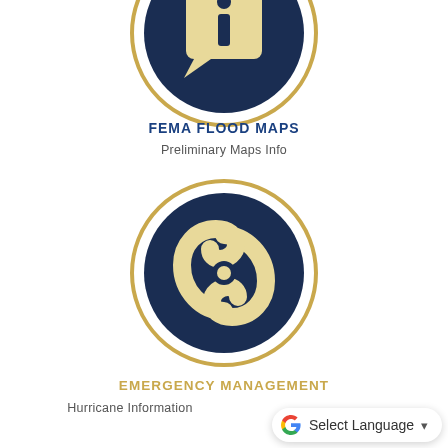[Figure (illustration): Dark navy blue circle with a gold/yellow speech bubble 'i' information icon, surrounded by a gold circular ring outline on white background]
FEMA FLOOD MAPS
Preliminary Maps Info
[Figure (illustration): Dark navy blue circle with a gold/yellow hurricane/cyclone swirl icon, surrounded by a gold circular ring outline on white background]
EMERGENCY MANAGEMENT
Hurricane Information
[Figure (logo): Google Translate widget: Google 'G' logo followed by 'Select Language' text with dropdown arrow, in a rounded white pill with shadow]